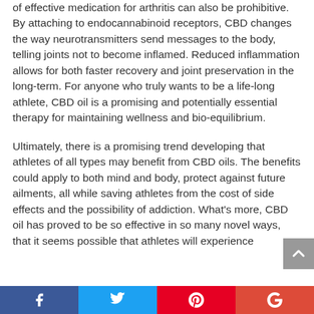of effective medication for arthritis can also be prohibitive. By attaching to endocannabinoid receptors, CBD changes the way neurotransmitters send messages to the body, telling joints not to become inflamed. Reduced inflammation allows for both faster recovery and joint preservation in the long-term. For anyone who truly wants to be a life-long athlete, CBD oil is a promising and potentially essential therapy for maintaining wellness and bio-equilibrium.
Ultimately, there is a promising trend developing that athletes of all types may benefit from CBD oils. The benefits could apply to both mind and body, protect against future ailments, all while saving athletes from the cost of side effects and the possibility of addiction. What's more, CBD oil has proved to be so effective in so many novel ways, that it seems possible that athletes will experience